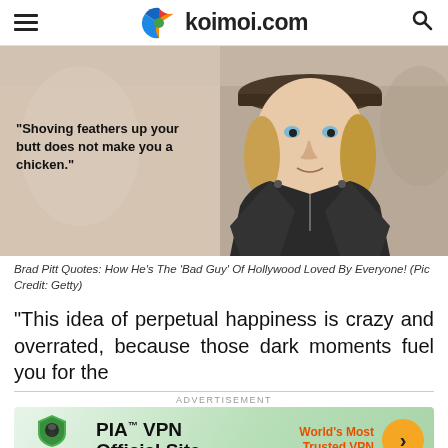koimoi.com
[Figure (photo): Young blonde man wearing a brown flat cap and black leather jacket, looking at camera. Text overlay reads: "Shoving feathers up your butt does not make you a chicken."]
Brad Pitt Quotes: How He's The 'Bad Guy' Of Hollywood Loved By Everyone! (Pic Credit: Getty)
“This idea of perpetual happiness is crazy and overrated, because those dark moments fuel you for the
[Figure (infographic): PIA VPN advertisement banner: PIA™ VPN Official Site — World's Most Trusted VPN with arrow CTA button]